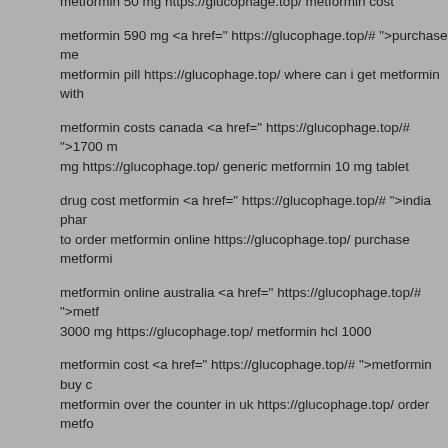metformin 50 mg https://glucophage.top/ metformin cost
metformin 590 mg <a href=" https://glucophage.top/# ">purchase me metformin pill https://glucophage.top/ where can i get metformin with
metformin costs canada <a href=" https://glucophage.top/# ">1700 m mg https://glucophage.top/ generic metformin 10 mg tablet
drug cost metformin <a href=" https://glucophage.top/# ">india phar to order metformin online https://glucophage.top/ purchase metformi
metformin online australia <a href=" https://glucophage.top/# ">metf 3000 mg https://glucophage.top/ metformin hcl 1000
metformin cost <a href=" https://glucophage.top/# ">metformin buy c metformin over the counter in uk https://glucophage.top/ order metfo
can i buy metformin over the counter in uk <a href=" https://glucopha i buy metformin over the counter in uk https://glucophage.top/ metfo
metformin script <a href=" https://glucophage.top/# ">metformin tabl metformin online https://glucophage.top/ metformin 1000 mg cost
metformin hcl 1000 <a href=" https://glucophage.top/# ">metformin b metformin https://glucophage.top/ buy metformin online usa
buying metformin er <a href=" https://glucophage.top/# ">metformin